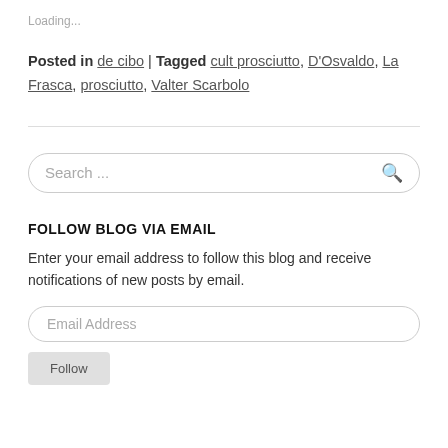Loading...
Posted in de cibo | Tagged cult prosciutto, D'Osvaldo, La Frasca, prosciutto, Valter Scarbolo
Search ...
FOLLOW BLOG VIA EMAIL
Enter your email address to follow this blog and receive notifications of new posts by email.
Email Address